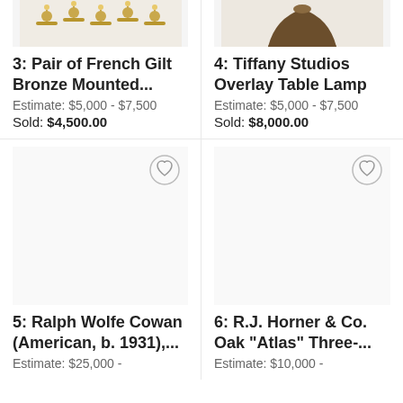[Figure (photo): Partial view of item 3: Pair of French Gilt Bronze Mounted decorative objects, top cropped]
[Figure (photo): Partial view of item 4: Tiffany Studios Overlay Table Lamp, top cropped]
3: Pair of French Gilt Bronze Mounted...
Estimate: $5,000 - $7,500
Sold: $4,500.00
4: Tiffany Studios Overlay Table Lamp
Estimate: $5,000 - $7,500
Sold: $8,000.00
[Figure (photo): Item 5: Ralph Wolfe Cowan (American, b. 1931), painting or artwork, image area mostly blank/loading]
[Figure (photo): Item 6: R.J. Horner & Co. Oak Atlas Three-... furniture piece, image area mostly blank/loading]
5: Ralph Wolfe Cowan (American, b. 1931),...
Estimate: $25,000 -
6: R.J. Horner & Co. Oak "Atlas" Three-...
Estimate: $10,000 -